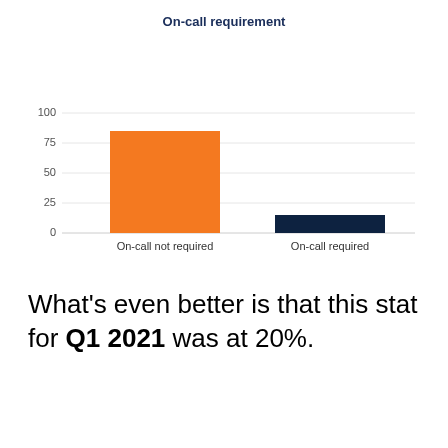[Figure (bar-chart): On-call requirement]
What's even better is that this stat for Q1 2021 was at 20%.